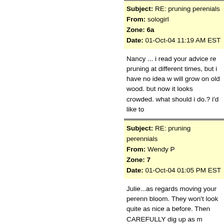Subject: RE: pruning perenials
From: sologirl
Zone: 6a
Date: 01-Oct-04 11:19 AM EST
Nancy ... i read your advice re pruning at different times, but i have no idea w will grow on old wood. but now it looks crowded. what should i do.? i'd like to
Subject: RE: pruning perennials
From: Wendy P
Zone: 7
Date: 01-Oct-04 01:05 PM EST
Julie...as regards moving your perenn bloom. They won't look quite as nice a before. Then CAREFULLY dig up as m prepared. A little bone meal or RootBo frost date is soon anyway, the flowers crown and then mulch with dry leaves, headstart. Your other option is to simp the soil is workable and you properly p
As I'm on the West Coast, I like to pru on top looks interesting over the winte